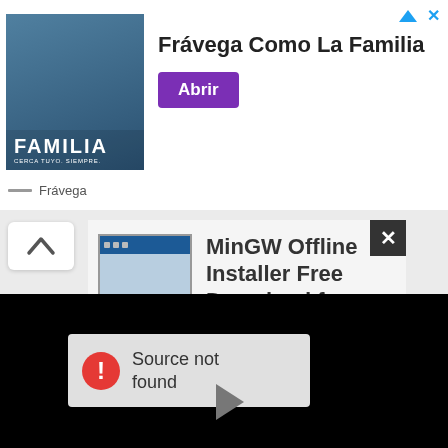[Figure (screenshot): Advertisement banner for Frávega featuring a group photo with text 'FAMILIA' and tagline 'Frávega Como La Familia' with a purple 'Abrir' button and Frávega brand name below.]
[Figure (screenshot): MinGW Offline Installer software listing with MinGW logo icon and bold title text 'MinGW Offline Installer Free Download for Windows PC']
[Figure (screenshot): Video player area showing black background with a 'Source not found' error message box (red circle exclamation icon) and a grey play arrow button at bottom center.]